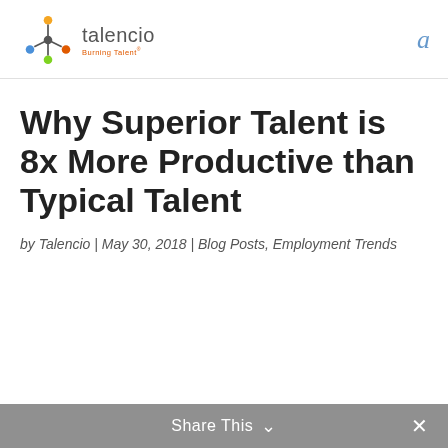talencio — Burning Talent
Why Superior Talent is 8x More Productive than Typical Talent
by Talencio | May 30, 2018 | Blog Posts, Employment Trends
Share This